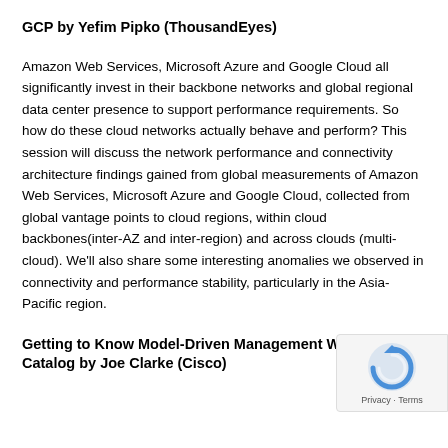GCP by Yefim Pipko (ThousandEyes)
Amazon Web Services, Microsoft Azure and Google Cloud all significantly invest in their backbone networks and global regional data center presence to support performance requirements. So how do these cloud networks actually behave and perform? This session will discuss the network performance and connectivity architecture findings gained from global measurements of Amazon Web Services, Microsoft Azure and Google Cloud, collected from global vantage points to cloud regions, within cloud backbones(inter-AZ and inter-region) and across clouds (multi-cloud). We'll also share some interesting anomalies we observed in connectivity and performance stability, particularly in the Asia-Pacific region.
Getting to Know Model-Driven Management With the Y Catalog by Joe Clarke (Cisco)